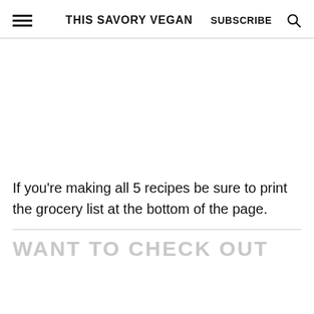THIS SAVORY VEGAN  SUBSCRIBE
If you're making all 5 recipes be sure to print the grocery list at the bottom of the page.
WANT TO CHECK OUT